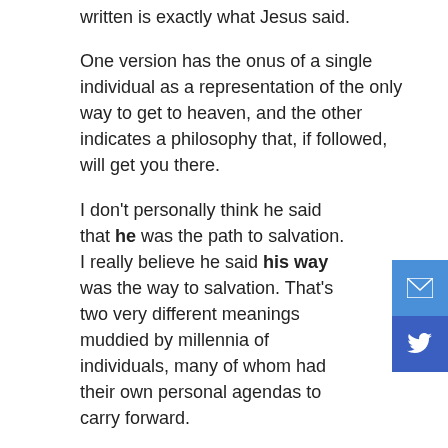written is exactly what Jesus said.
One version has the onus of a single individual as a representation of the only way to get to heaven, and the other indicates a philosophy that, if followed, will get you there.
I don't personally think he said that he was the path to salvation. I really believe he said his way was the way to salvation. That's two very different meanings muddied by millennia of individuals, many of whom had their own personal agendas to carry forward.
Remember: For both the Greeks and the Romans, very few humans made it to Mount Olympus to live with the Gods. The Jewish faith was vastly different: One God and a heaven to which all people had access; where it wasn't necessary to have Priests intervene on their behalf and where they wouldn't